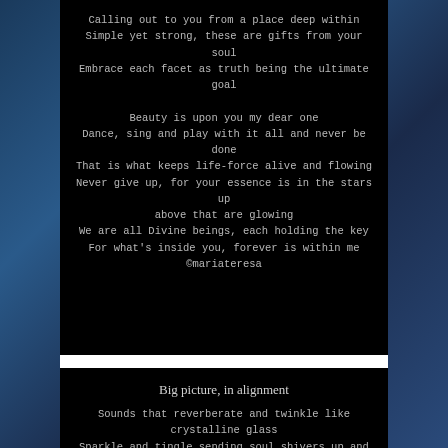Calling out to you from a place deep within
Simple yet strong, these are gifts from your soul
Embrace each facet as truth being the ultimate goal

Beauty is upon you my dear one
Dance, sing and play with it all and never be done
That is what keeps life-force alive and flowing
Never give up, for your essence is in the stars up above that are glowing
We are all Divine beings, each holding the key
For what's inside you, forever is within me
©mariateresa
Big picture, in alignment
Sounds that reverberate and twinkle like crystalline glass
Sparkle and tingle sending soul shivers up and down my back